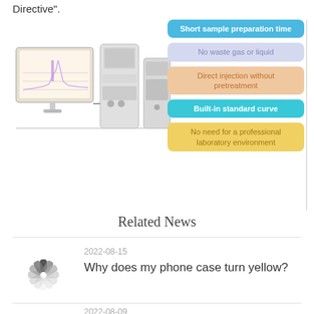Directive".
[Figure (photo): Laboratory gas chromatograph equipment with computer monitor showing a chromatogram graph, alongside feature callout boxes: Short sample preparation time (blue), No waste gas or liquid (lavender), Direct injection without pretreatment (peach), Built-in standard curve (cyan), No need for a professional laboratory environment (gold)]
Related News
[Figure (illustration): Loading spinner circle icon (gray)]
2022-08-15
Why does my phone case turn yellow?
[Figure (illustration): Loading spinner circle icon (gray), partially visible at bottom]
2022-08-09